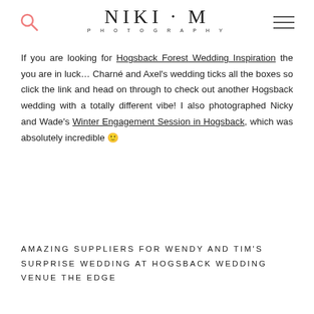NIKI·M PHOTOGRAPHY
If you are looking for Hogsback Forest Wedding Inspiration the you are in luck… Charné and Axel's wedding ticks all the boxes so click the link and head on through to check out another Hogsback wedding with a totally different vibe! I also photographed Nicky and Wade's Winter Engagement Session in Hogsback, which was absolutely incredible 🙂
AMAZING SUPPLIERS FOR WENDY AND TIM'S SURPRISE WEDDING AT HOGSBACK WEDDING VENUE THE EDGE